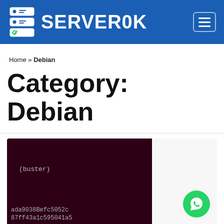SERVEROK
Home » Debian
Category: Debian
[Figure (screenshot): Terminal screenshot showing Debian (buster) with hash strings: ada9038Befc5052c and 87ff43a1c595041a5, dark maroon background.]